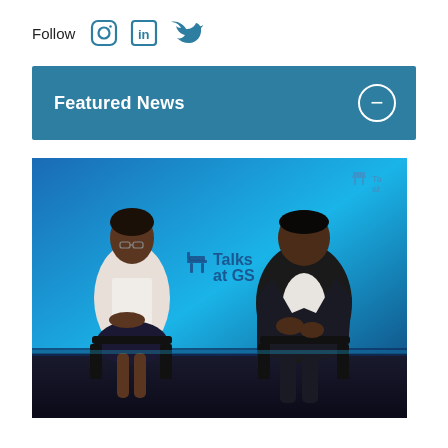Follow
[Figure (screenshot): A screenshot of a webpage header showing 'Follow' text with Instagram, LinkedIn, and Twitter social media icons]
Featured News
[Figure (photo): Photo of two people seated on a stage in conversation at a 'Talks at GS' (Goldman Sachs) event. The background is blue with the 'Talks at GS' logo visible. A woman in white is on the left, and a man in a dark suit is on the right.]